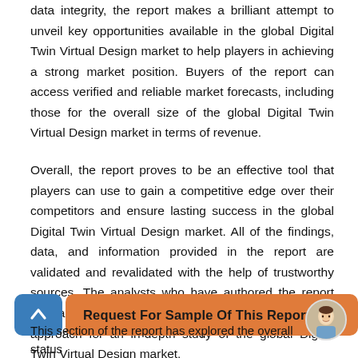data integrity, the report makes a brilliant attempt to unveil key opportunities available in the global Digital Twin Virtual Design market to help players in achieving a strong market position. Buyers of the report can access verified and reliable market forecasts, including those for the overall size of the global Digital Twin Virtual Design market in terms of revenue.
Overall, the report proves to be an effective tool that players can use to gain a competitive edge over their competitors and ensure lasting success in the global Digital Twin Virtual Design market. All of the findings, data, and information provided in the report are validated and revalidated with the help of trustworthy sources. The analysts who have authored the report took a unique and industry-best research and analysis approach for an in-depth study of the global Digital Twin Virtual Design market.
Request For Sample Of This Report
This section of the report has explored the overall status